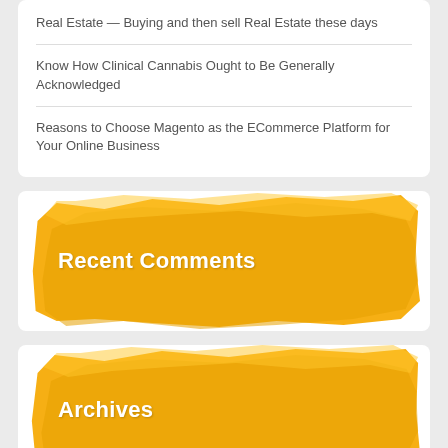Real Estate — Buying and then sell Real Estate these days
Know How Clinical Cannabis Ought to Be Generally Acknowledged
Reasons to Choose Magento as the ECommerce Platform for Your Online Business
Recent Comments
Archives
July 2022
May 2022